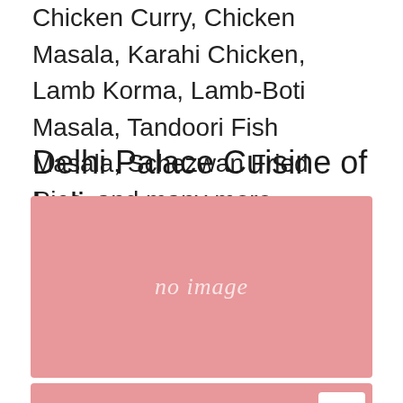Chicken Curry, Chicken Masala, Karahi Chicken, Lamb Korma, Lamb-Boti Masala, Tandoori Fish Masala, Schezwan Fried Rice, and many more.
Delhi Palace Cuisine of India
[Figure (photo): Pink placeholder image with 'no image' text in italic white]
[Figure (photo): Pink placeholder image strip with a white arrow button on the right]